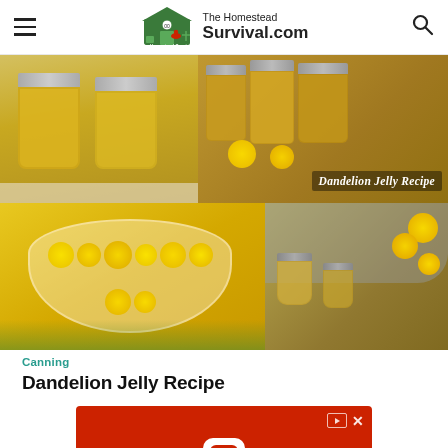The Homestead Survival.com
[Figure (photo): Collage of dandelion jelly recipes: top-left shows two glass mason jars filled with golden yellow jelly, top-right shows multiple mason jars with golden-amber jelly and dandelion flowers with text overlay 'Dandelion Jelly Recipe', bottom-left shows a bowl filled with bright yellow dandelion flowers, bottom-right shows small glass jars with honey and fresh dandelion flowers.]
Canning
Dandelion Jelly Recipe
[Figure (screenshot): Hotels.com advertisement banner with red background, Hotels.com app icon (white H on red rounded square), Hotels.com logo in white text, and BOOK NOW button with rounded border.]